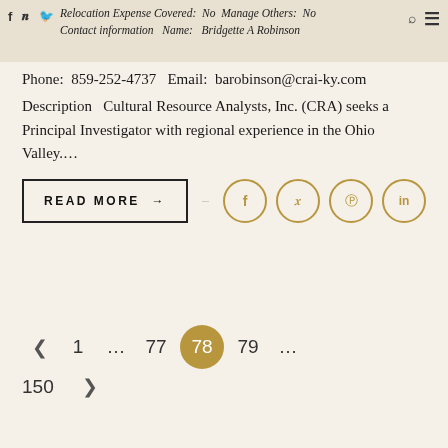Relocation Expense Covered: No  Manage Others: No  Contact information  Name: Bridgette A Robinson
Phone: 859-252-4737  Email: barobinson@crai-ky.com  Description  Cultural Resource Analysts, Inc. (CRA) seeks a Principal Investigator with regional experience in the Ohio Valley....
READ MORE →
‹  1  ...  77  78  79  ...  150  ›